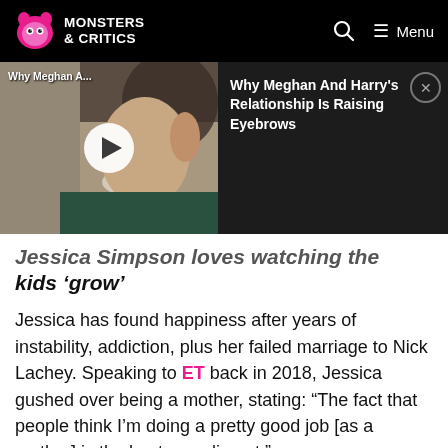MONSTERS & CRITICS
[Figure (screenshot): Video player showing a woman smiling with text overlay 'Why Meghan A...' and video title 'Why Meghan And Harry's Relationship Is Raising Eyebrows' with a close button]
Jessica Simpson loves watching the kids 'grow'
Jessica has found happiness after years of instability, addiction, plus her failed marriage to Nick Lachey. Speaking to ET back in 2018, Jessica gushed over being a mother, stating: “The fact that people think I’m doing a pretty good job [as a mother] is the best compliment.”
“The most rewarding part of being a mother is